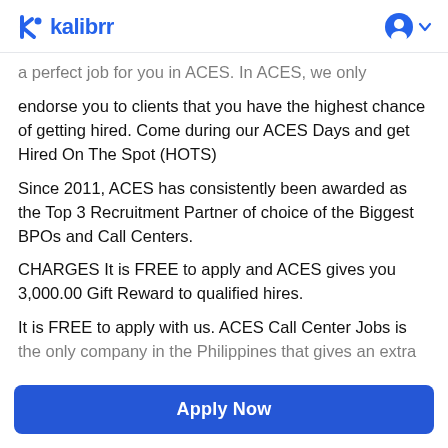kalibrr
a perfect job for you in ACES. In ACES, we only endorse you to clients that you have the highest chance of getting hired. Come during our ACES Days and get Hired On The Spot (HOTS)
Since 2011, ACES has consistently been awarded as the Top 3 Recruitment Partner of choice of the Biggest BPOs and Call Centers.
CHARGES It is FREE to apply and ACES gives you 3,000.00 Gift Reward to qualified hires.
It is FREE to apply with us. ACES Call Center Jobs is the only company in the Philippines that gives an extra
Apply Now